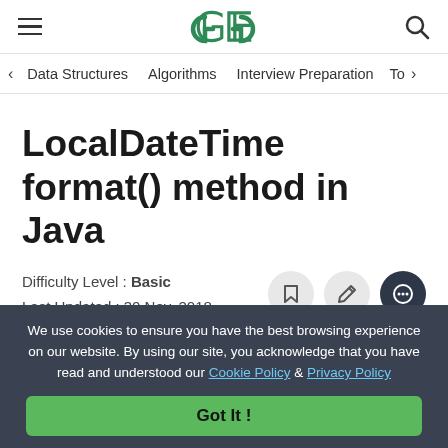[Figure (logo): GeeksforGeeks logo with hamburger menu and search icon in header]
Data Structures  Algorithms  Interview Preparation  To>
LocalDateTime format() method in Java
Difficulty Level : Basic
Last Updated : 30 Nov, 2018
We use cookies to ensure you have the best browsing experience on our website. By using our site, you acknowledge that you have read and understood our Cookie Policy & Privacy Policy
Got It !